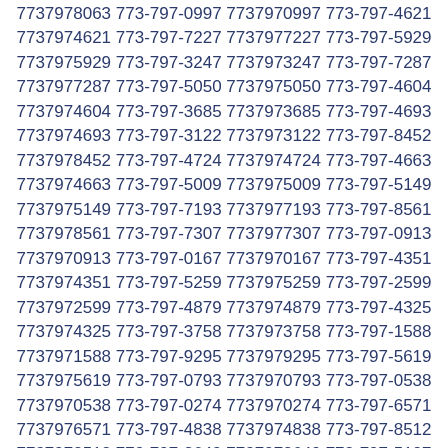7737978063 773-797-0997 7737970997 773-797-4621 7737974621 773-797-7227 7737977227 773-797-5929 7737975929 773-797-3247 7737973247 773-797-7287 7737977287 773-797-5050 7737975050 773-797-4604 7737974604 773-797-3685 7737973685 773-797-4693 7737974693 773-797-3122 7737973122 773-797-8452 7737978452 773-797-4724 7737974724 773-797-4663 7737974663 773-797-5009 7737975009 773-797-5149 7737975149 773-797-7193 7737977193 773-797-8561 7737978561 773-797-7307 7737977307 773-797-0913 7737970913 773-797-0167 7737970167 773-797-4351 7737974351 773-797-5259 7737975259 773-797-2599 7737972599 773-797-4879 7737974879 773-797-4325 7737974325 773-797-3758 7737973758 773-797-1588 7737971588 773-797-9295 7737979295 773-797-5619 7737975619 773-797-0793 7737970793 773-797-0538 7737970538 773-797-0274 7737970274 773-797-6571 7737976571 773-797-4838 7737974838 773-797-8512 7737978512 773-797-2649 7737972649 773-797-5187 7737975187 773-797-5689 7737975689 773-797-0618 7737970618 773-797-9035 7737979035 773-797-5080 7737975080 773-797-0183 7737970183 773-797-1812 7737971812 773-797-6044 7737976044 773-797-0466 7737970466 773-797-7298 7737977298 773-797-7406 7737977406 773-797-4175 7737974175 773-797-6822 7737976822 773-797-4341 7737974341 773-797-4417